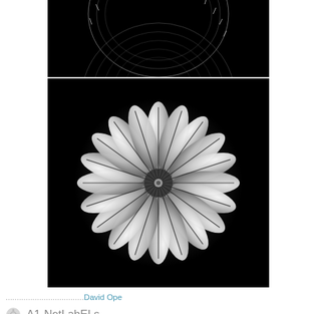[Figure (photo): Top partial image: bottom portion of a radial gear/disc pattern on black background]
[Figure (photo): Flower-like 3D rendered sphere with petal-like lobes radiating from center, white/grey on black background]
......................................David Ope
A1-NetLabELs
-N
Aerotome